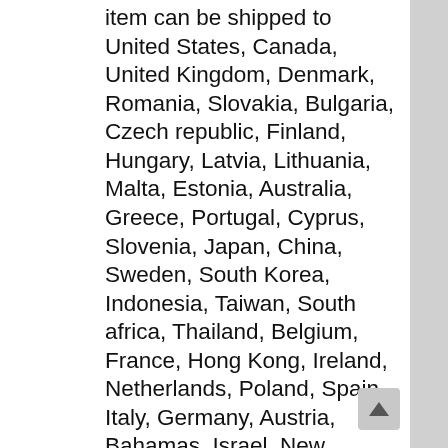item can be shipped to United States, Canada, United Kingdom, Denmark, Romania, Slovakia, Bulgaria, Czech republic, Finland, Hungary, Latvia, Lithuania, Malta, Estonia, Australia, Greece, Portugal, Cyprus, Slovenia, Japan, China, Sweden, South Korea, Indonesia, Taiwan, South africa, Thailand, Belgium, France, Hong Kong, Ireland, Netherlands, Poland, Spain, Italy, Germany, Austria, Bahamas, Israel, New Zealand, Philippines, Singapore, Switzerland, Norway, Saudi arabia, Ukraine, United arab emirates, Qatar, Kuwait, Bahrain, Croatia, Malaysia, Colombia, Antigua and barbuda, Aruba, Belize, Dominica, Grenada, Saint kitts and nevis, Saint lucia, Montserrat, Turks and caicos islands, Barbados, Bangladesh, Bermuda, Brunei darussalam, Bolivia, Egypt, French guiana, Guernsey, Gibraltar, Guadeloupe, Iceland, Jersey, Jordan, Cambodia, Cayman islands, Liechtenstein, Sri lanka,